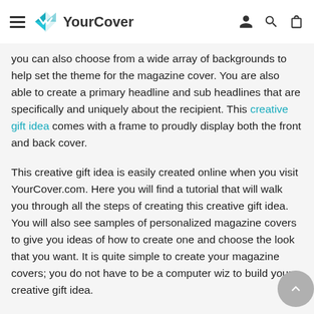YourCover
you can also choose from a wide array of backgrounds to help set the theme for the magazine cover. You are also able to create a primary headline and sub headlines that are specifically and uniquely about the recipient. This creative gift idea comes with a frame to proudly display both the front and back cover.
This creative gift idea is easily created online when you visit YourCover.com. Here you will find a tutorial that will walk you through all the steps of creating this creative gift idea. You will also see samples of personalized magazine covers to give you ideas of how to create one and choose the look that you want. It is quite simple to create your magazine covers; you do not have to be a computer wiz to build your creative gift idea.
A personalized magazine cover is definitely a creative gift idea that will stand out in the mind of the person that you